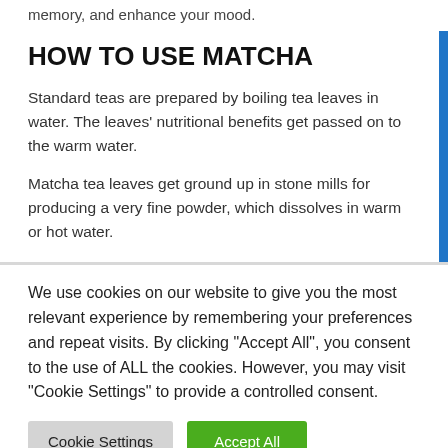memory, and enhance your mood.
HOW TO USE MATCHA
Standard teas are prepared by boiling tea leaves in water. The leaves' nutritional benefits get passed on to the warm water.
Matcha tea leaves get ground up in stone mills for producing a very fine powder, which dissolves in warm or hot water.
We use cookies on our website to give you the most relevant experience by remembering your preferences and repeat visits. By clicking "Accept All", you consent to the use of ALL the cookies. However, you may visit "Cookie Settings" to provide a controlled consent.
Cookie Settings | Accept All